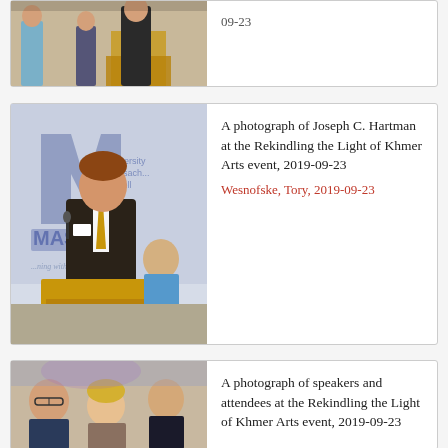[Figure (photo): Partial view of a person speaking at a podium with students in background]
09-23
[Figure (photo): Joseph C. Hartman speaking at a podium at the Rekindling the Light of Khmer Arts event, UMass Lowell backdrop visible]
A photograph of Joseph C. Hartman at the Rekindling the Light of Khmer Arts event, 2019-09-23
Wesnofske, Tory, 2019-09-23
[Figure (photo): Speakers and attendees seated at the Rekindling the Light of Khmer Arts event, 2019-09-23]
A photograph of speakers and attendees at the Rekindling the Light of Khmer Arts event, 2019-09-23